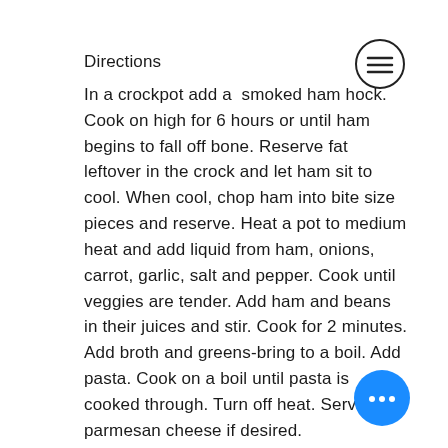Directions
In a crockpot add a smoked ham hock. Cook on high for 6 hours or until ham begins to fall off bone. Reserve fat leftover in the crock and let ham sit to cool. When cool, chop ham into bite size pieces and reserve. Heat a pot to medium heat and add liquid from ham, onions, carrot, garlic, salt and pepper. Cook until veggies are tender. Add ham and beans in their juices and stir. Cook for 2 minutes. Add broth and greens-bring to a boil. Add pasta. Cook on a boil until pasta is cooked through. Turn off heat. Serve with parmesan cheese if desired.
[Figure (other): Hamburger menu icon — three horizontal lines in a circle outline]
[Figure (other): Blue floating action button with three white dots (ellipsis/more options)]